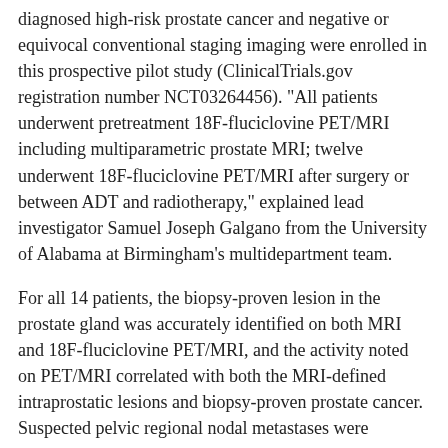diagnosed high-risk prostate cancer and negative or equivocal conventional staging imaging were enrolled in this prospective pilot study (ClinicalTrials.gov registration number NCT03264456). "All patients underwent pretreatment 18F-fluciclovine PET/MRI including multiparametric prostate MRI; twelve underwent 18F-fluciclovine PET/MRI after surgery or between ADT and radiotherapy," explained lead investigator Samuel Joseph Galgano from the University of Alabama at Birmingham's multidepartment team.
For all 14 patients, the biopsy-proven lesion in the prostate gland was accurately identified on both MRI and 18F-fluciclovine PET/MRI, and the activity noted on PET/MRI correlated with both the MRI-defined intraprostatic lesions and biopsy-proven prostate cancer. Suspected pelvic regional nodal metastases were detected in 3 patients on MRI vs 7 patients on PET/MRI. Of the three patients with suspected nodal metastases on MRI, 18F-fluciclovine PET/MRI was concordant for lymph node metastases and demonstrated additional suspected lymph node metastases not detected on MRI alone.